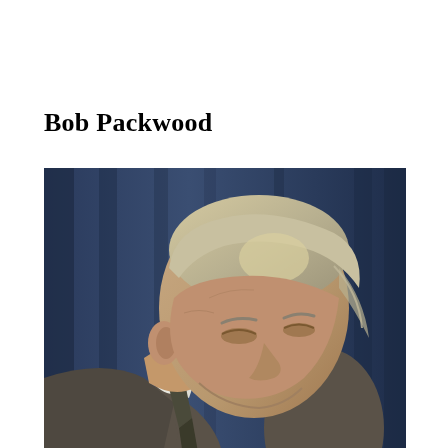Bob Packwood
[Figure (photo): Black and white photograph of Bob Packwood, an older man with light hair, looking downward, wearing a suit and tie, with a dark curtain or drape in the background.]